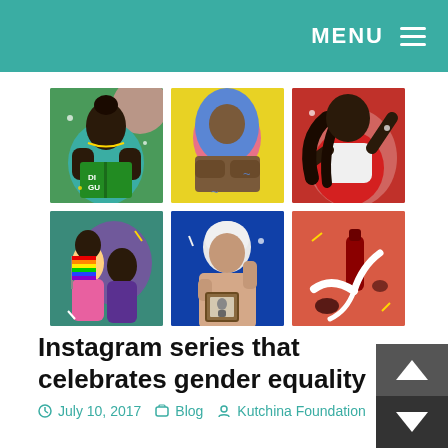MENU
[Figure (illustration): A 2x3 grid of six illustrations depicting diverse women: 1) A dark-skinned woman in a green sari reading a book on a green background; 2) A woman in a blue hijab with arms crossed on a yellow background; 3) A woman in a red sari on a red background; 4) Two women, one holding a rainbow pride flag, on a teal/purple background; 5) An elderly woman with white hair raising her hand on a blue background; 6) A bottle being smashed with white liquid splashing on a coral/orange background.]
Instagram series that celebrates gender equality
July 10, 2017   Blog   Kutchina Foundation